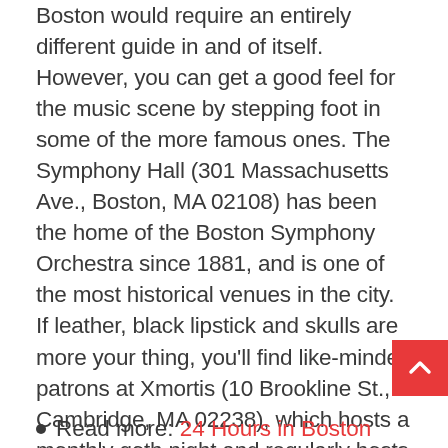Boston would require an entirely different guide in and of itself. However, you can get a good feel for the music scene by stepping foot in some of the more famous ones. The Symphony Hall (301 Massachusetts Ave., Boston, MA 02108) has been the home of the Boston Symphony Orchestra since 1881, and is one of the most historical venues in the city. If leather, black lipstick and skulls are more your thing, you'll find like-minded patrons at Xmortis (10 Brookline St., Cambridge, MA 02238), which hosts a monthly goth night and regularly hosts industrial and darkwave bands. Some of the best jazz in the city can be found at Wally's Cafe (427 Massachusetts Ave., Boston, MA 02118) and the Paradise Rock Club (967 Commonwealth Ave., Boston, MA 02215) is great for taking in a high-energy rock concert and enjoying some cheap beer.
Read more: 24 Hours in Boston